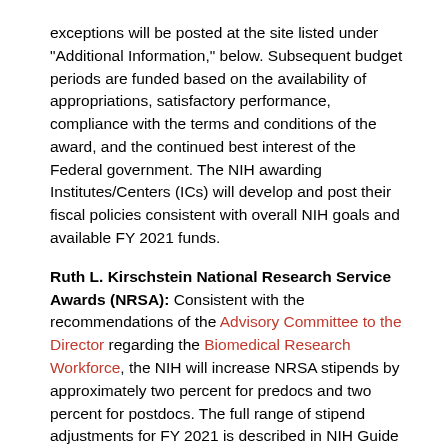exceptions will be posted at the site listed under "Additional Information," below. Subsequent budget periods are funded based on the availability of appropriations, satisfactory performance, compliance with the terms and conditions of the award, and the continued best interest of the Federal government. The NIH awarding Institutes/Centers (ICs) will develop and post their fiscal policies consistent with overall NIH goals and available FY 2021 funds.
Ruth L. Kirschstein National Research Service Awards (NRSA): Consistent with the recommendations of the Advisory Committee to the Director regarding the Biomedical Research Workforce, the NIH will increase NRSA stipends by approximately two percent for predocs and two percent for postdocs. The full range of stipend adjustments for FY 2021 is described in NIH Guide Notice NOT-OD-21-049.